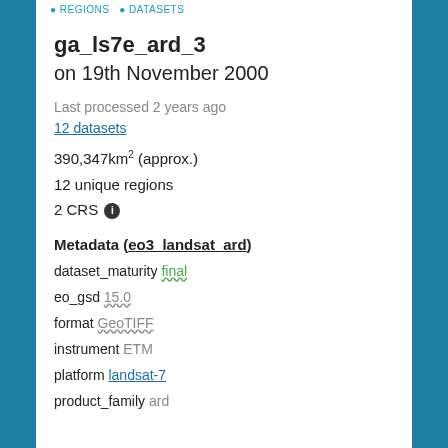REGIONS  DATASETS
ga_ls7e_ard_3
on 19th November 2000
Last processed 2 years ago
12 datasets
390,347km² (approx.)
12 unique regions
2 CRS ℹ
Metadata (eo3_landsat_ard)
dataset_maturity final
eo_gsd 15.0
format GeoTIFF
instrument ETM
platform landsat-7
product_family ard